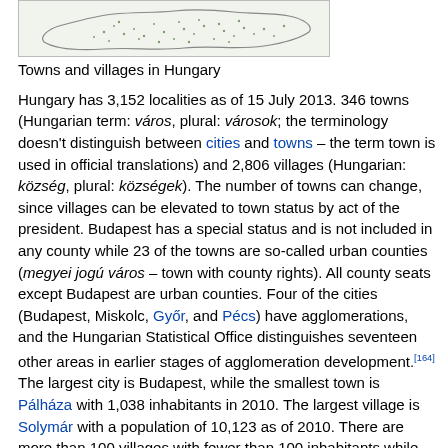[Figure (map): Map showing towns and villages in Hungary, with green-dotted pattern indicating localities across the country's outline.]
Towns and villages in Hungary
Hungary has 3,152 localities as of 15 July 2013. 346 towns (Hungarian term: város, plural: városok; the terminology doesn't distinguish between cities and towns – the term town is used in official translations) and 2,806 villages (Hungarian: község, plural: községek). The number of towns can change, since villages can be elevated to town status by act of the president. Budapest has a special status and is not included in any county while 23 of the towns are so-called urban counties (megyei jogú város – town with county rights). All county seats except Budapest are urban counties. Four of the cities (Budapest, Miskolc, Győr, and Pécs) have agglomerations, and the Hungarian Statistical Office distinguishes seventeen other areas in earlier stages of agglomeration development.[164] The largest city is Budapest, while the smallest town is Pálháza with 1,038 inhabitants in 2010. The largest village is Solymár with a population of 10,123 as of 2010. There are more than 100 villages with fewer than 100 inhabitants while the smallest villages have fewer than 20 inhabitants.
Economy